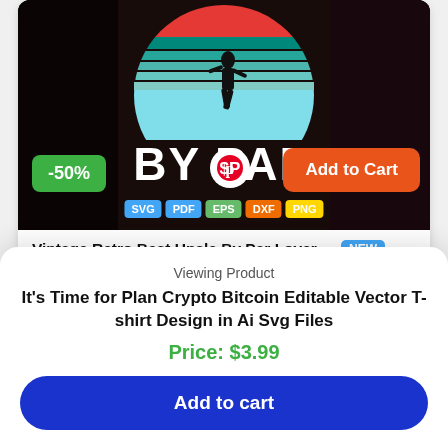[Figure (illustration): Retro vintage sunset circle design with silhouette of a person walking, colored stripes in red and teal/cyan gradient, text BY PAR at bottom, on dark background. Format badges SVG, PDF, EPS, DXF, PNG shown. -50% green badge and orange Add to Cart button overlaid.]
Vintage Retro Best Uncle By Par Lover ... NEW $5.99 $2.99
by VTD Official
[Figure (screenshot): Partial dark background product image, partially visible below the first card.]
Viewing Product
It's Time for Plan Crypto Bitcoin Editable Vector T-shirt Design in Ai Svg Files
Price: $3.99
Add to cart